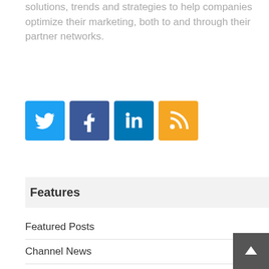solutions, trends and strategies to help companies optimize their marketing, both to and through their partner networks.
[Figure (illustration): Four social media icon buttons: Twitter (blue bird), Facebook (blue f), LinkedIn (blue in), RSS (orange feed icon)]
Features
Featured Posts
Channel News
ChannelChat
ChannelViews
Solution Spotlight
Topics
Channel Marketing